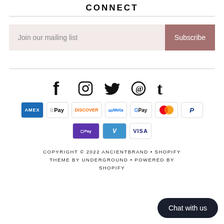CONNECT
Join our mailing list
Subscribe
[Figure (infographic): Social media icons row: Facebook, Instagram, Twitter, Pinterest, Tumblr]
[Figure (infographic): Payment method badges: American Express, Apple Pay, Discover, Meta Pay, Google Pay, Mastercard, PayPal, Shop Pay, Venmo, Visa]
COPYRIGHT © 2022 ANCIENTBRAND • SHOPIFY THEME BY UNDERGROUND • POWERED BY SHOPIFY
Chat with us